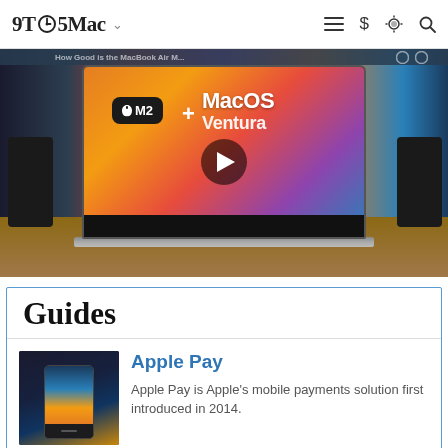9TO5Mac
[Figure (screenshot): Hero video thumbnail showing a MacBook with screen displaying Apple M2 chip logo + MacOS Ventura text on a colorful gradient background, with a play button overlay. Surrounding the laptop are speakers and tech accessories on a desk.]
Guides
[Figure (photo): Small thumbnail photo of an iPhone displaying Apple Pay cards on screen against a dark background]
Apple Pay
Apple Pay is Apple's mobile payments solution first introduced in 2014.